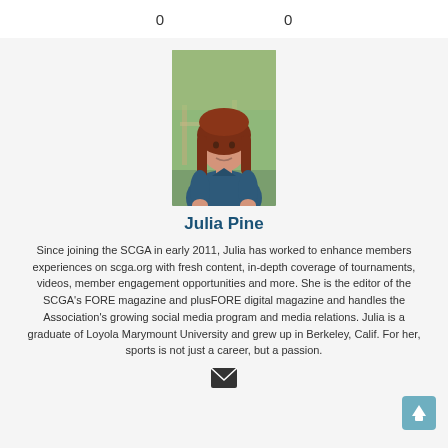0    0
[Figure (photo): Portrait photo of Julia Pine, a woman with long auburn hair wearing a dark blue polo shirt, standing outdoors with greenery in the background.]
Julia Pine
Since joining the SCGA in early 2011, Julia has worked to enhance members experiences on scga.org with fresh content, in-depth coverage of tournaments, videos, member engagement opportunities and more. She is the editor of the SCGA's FORE magazine and plusFORE digital magazine and handles the Association's growing social media program and media relations. Julia is a graduate of Loyola Marymount University and grew up in Berkeley, Calif. For her, sports is not just a career, but a passion.
[Figure (illustration): Email envelope icon (dark/black)]
[Figure (illustration): Scroll-to-top button: teal/blue rounded rectangle with upward arrow icon]